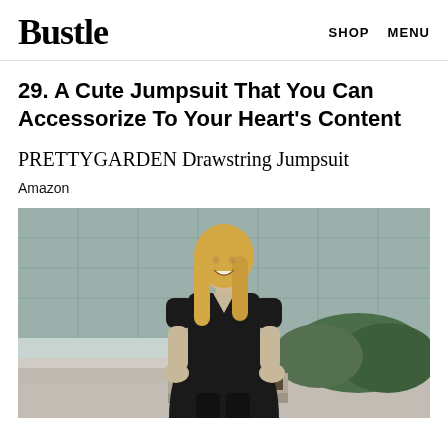Bustle   SHOP   MENU
29. A Cute Jumpsuit That You Can Accessorize To Your Heart's Content
PRETTYGARDEN Drawstring Jumpsuit
Amazon
[Figure (photo): Woman with long blonde hair smiling, wearing a black v-neck short-sleeve jumpsuit, standing outdoors in front of a glass building with green shrubs in background]